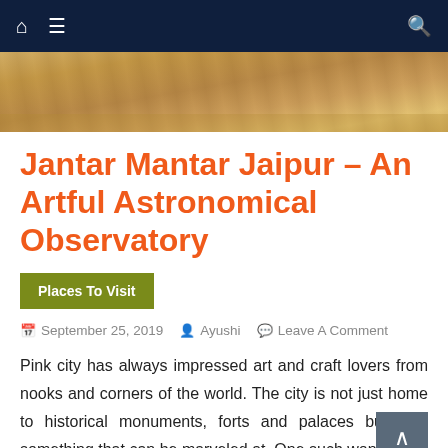Navigation bar with home icon, menu icon, and search icon
[Figure (photo): Aerial or close-up view of Jantar Mantar Jaipur stone structures]
Jantar Mantar Jaipur – An Artful Astronomical Observatory
Places To Visit
September 25, 2019   Ayushi   Leave A Comment
Pink city has always impressed art and craft lovers from nooks and corners of the world. The city is not just home to historical monuments, forts and palaces but also something that can be marveled at. One such wonderful